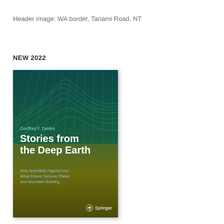Header image: WA border, Tanami Road, NT
NEW 2022
[Figure (photo): Book cover of 'Stories from the Deep Earth' by Geoffrey F. Davies, published by Springer. Cover features a teal/green wireframe mesh landscape on a dark teal background transitioning to olive/dark background. Author name in light teal, title in white bold text, subtitle in light blue: 'How Scientists Figured Out What Drives Tectonic Plates and Mountain Building'. Springer logo at bottom right.]